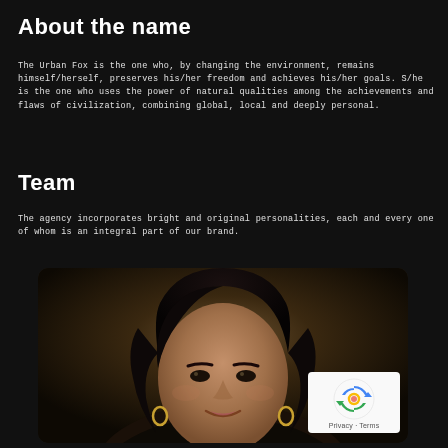About the name
The Urban Fox is the one who, by changing the environment, remains himself/herself, preserves his/her freedom and achieves his/her goals. S/he is the one who uses the power of natural qualities among the achievements and flaws of civilization, combining global, local and deeply personal.
Team
The agency incorporates bright and original personalities, each and every one of whom is an integral part of our brand.
[Figure (photo): Portrait photo of a woman with dark hair, smiling, wearing hoop earrings against a dark bokeh background. A reCAPTCHA badge appears in the bottom right corner with Privacy and Terms links.]